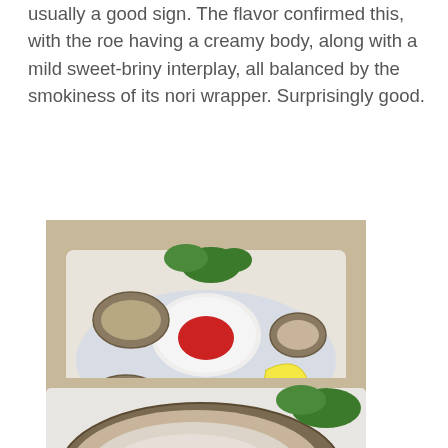usually a good sign. The flavor confirmed this, with the roe having a creamy body, along with a mild sweet-briny interplay, all balanced by the smokiness of its nori wrapper. Surprisingly good.
[Figure (photo): Overhead view of oysters on a white rectangular plate with crushed ice, a small round white dish with red cocktail sauce, a lemon wedge, and garnish of parsley.]
[Figure (photo): Close-up of a single oyster on the half shell on a white plate, with red cocktail sauce and parsley garnish visible in the background.]